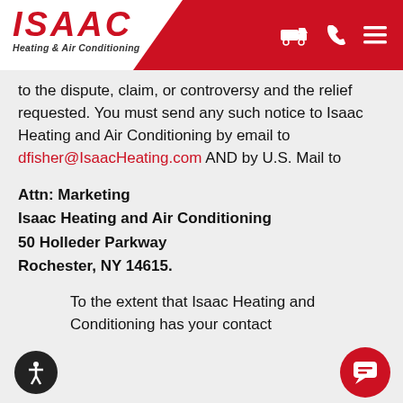ISAAC Heating & Air Conditioning
to the dispute, claim, or controversy and the relief requested. You must send any such notice to Isaac Heating and Air Conditioning by email to dfisher@IsaacHeating.com AND by U.S. Mail to
Attn: Marketing
Isaac Heating and Air Conditioning
50 Holleder Parkway
Rochester, NY 14615.
To the extent that Isaac Heating and Conditioning has your contact information, it will also send such